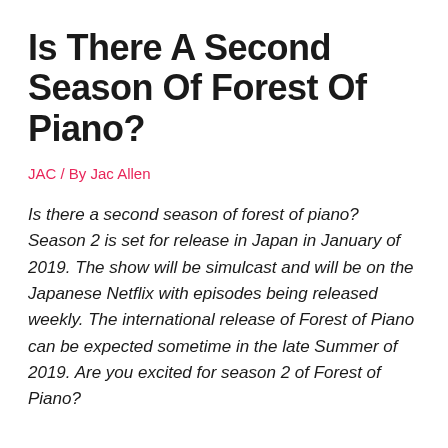Is There A Second Season Of Forest Of Piano?
JAC / By Jac Allen
Is there a second season of forest of piano? Season 2 is set for release in Japan in January of 2019. The show will be simulcast and will be on the Japanese Netflix with episodes being released weekly. The international release of Forest of Piano can be expected sometime in the late Summer of 2019. Are you excited for season 2 of Forest of Piano?